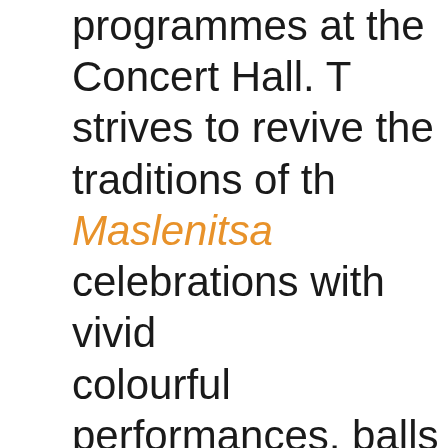programmes at the Concert Hall. T strives to revive the traditions of th Maslenitsa celebrations with vivid colourful performances, balls and that are open to all. Russia's most ancient and belove Maslenitsa (Shrovetide) was celeb a grand scale in the pre-Revolutio The merriments of Maslenitsa visi home and every family. The aristo